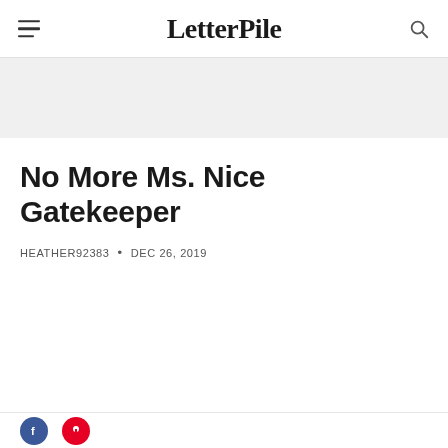LetterPile
No More Ms. Nice Gatekeeper
HEATHER92383 • DEC 26, 2019